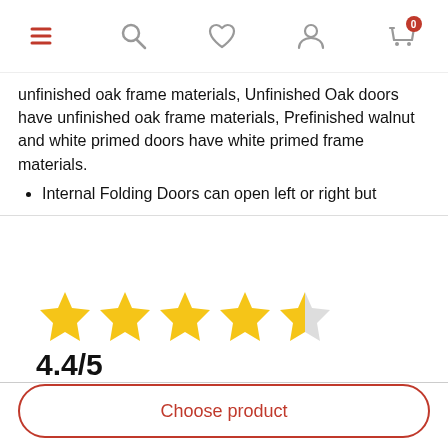Navigation bar with menu, search, wishlist, account, and cart icons
unfinished oak frame materials, Unfinished Oak doors have unfinished oak frame materials, Prefinished walnut and white primed doors have white primed frame materials.
Internal Folding Doors can open left or right but
[Figure (other): Star rating: 4.4 out of 5, shown as 4 full yellow stars and 1 half yellow star]
4.4/5
Total Price
£0.00
Choose product